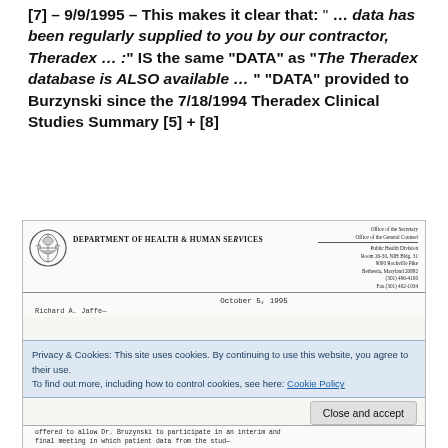[7] – 9/9/1995 – This makes it clear that: " … data has been regularly supplied to you by our contractor, Theradex … :" IS the same "DATA" as "The Theradex database is ALSO available … " "DATA" provided to Burzynski since the 7/18/1994 Theradex Clinical Studies Summary [5] + [8]
[Figure (photo): Scanned document image showing a Department of Health & Human Services letterhead dated October 5, 1995, addressed to Richard A. [Jaffe?], with office information for Public Health Division, Room 26-30, NIH Bldg. 31, 9000 Rockville Pike, Bethesda, Maryland 20892. A cookie consent banner overlays the bottom portion of the document image reading 'Privacy & Cookies: This site uses cookies. By continuing to use this website, you agree to their use. To find out more, including how to control cookies, see here: Cookie Policy' with a 'Close and accept' button. Partial body text visible at bottom: 'offered to allow Dr. Bruzynski to participate in an interim and final meeting in which patient data from the stud—']